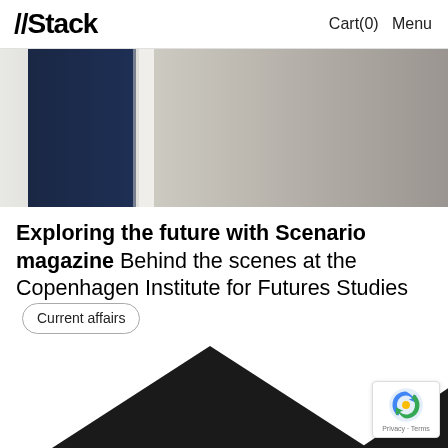//Stack  Cart(0)  Menu
[Figure (photo): Hero image showing a magazine or book cover with dark navy blue panel on left and grey gradient surface on right]
Exploring the future with Scenario magazine Behind the scenes at the Copenhagen Institute for Futures Studies  Current affairs
[Figure (illustration): Two dark triangular mountain shapes at the bottom of the page, partially cut off]
[Figure (other): reCAPTCHA badge with Privacy and Terms text]